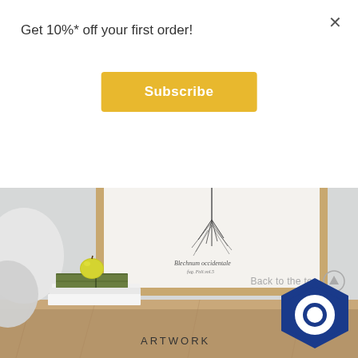Get 10%* off your first order!
×
Subscribe
[Figure (photo): Interior room scene with a framed botanical artwork on a wall, a lamp on the left, a green book with a yellow apple on top, and a wooden table. The framed print shows a botanical illustration with the text 'Blechnum occidentale'.]
Back to the top
ARTWORK
[Figure (logo): Dark blue hexagon shape with a circular chat bubble icon inside]